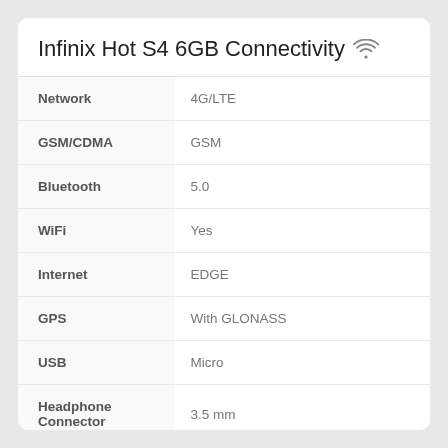Infinix Hot S4 6GB Connectivity
| Property | Value |
| --- | --- |
| Network | 4G/LTE |
| GSM/CDMA | GSM |
| Bluetooth | 5.0 |
| WiFi | Yes |
| Internet | EDGE |
| GPS | With GLONASS |
| USB | Micro |
| Headphone Connector | 3.5 mm |
| SIM | Dual |